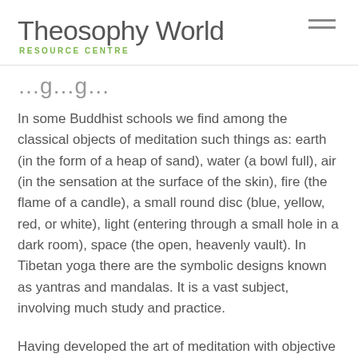Theosophy World RESOURCE CENTRE
...g...g...
In some Buddhist schools we find among the classical objects of meditation such things as: earth (in the form of a heap of sand), water (a bowl full), air (in the sensation at the surface of the skin), fire (the flame of a candle), a small round disc (blue, yellow, red, or white), light (entering through a small hole in a dark room), space (the open, heavenly vault). In Tibetan yoga there are the symbolic designs known as yantras and mandalas. It is a vast subject, involving much study and practice.
Having developed the art of meditation with objective things, then the more abstract themes — aphorisms and concepts and virtues, which...